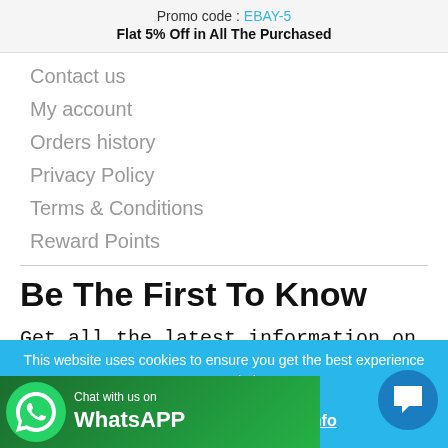Promo code : EBAY-5
Flat 5% Off in All The Purchased
Contact us
My account
Orders history
Privacy Policy
Terms & Conditions
Reward Points
Be The First To Know
Get all the latest information on Events,
This website uses cookies to ensure you get the best experience on our website.